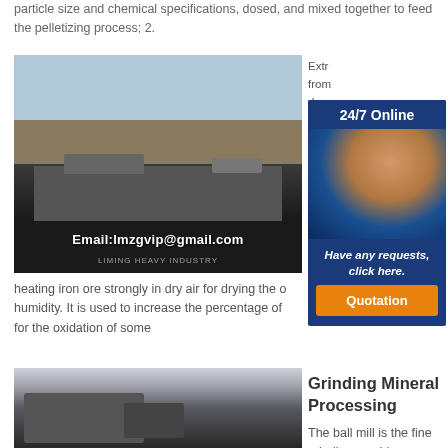particle size and chemical specifications, dosed, and mixed together to feed the pelletizing process; 2.
[Figure (photo): Industrial mineral processing equipment / crusher machine in open field with text overlay Email:lmzgvip@gmail.com]
Extr... from... dre... 2018... → S... → 2... is th...
[Figure (infographic): 24/7 Online customer service ad widget with photo of woman with headset, text 'Have any requests, click here.' and Quotation button]
heating iron ore strongly in dry air for drying the o... humidity. It is used to increase the percentage of ... for the oxidation of some
[Figure (photo): Industrial grinding/milling machinery in a factory setting]
Grinding Mineral Processing
The ball mill is the fine grinding machine